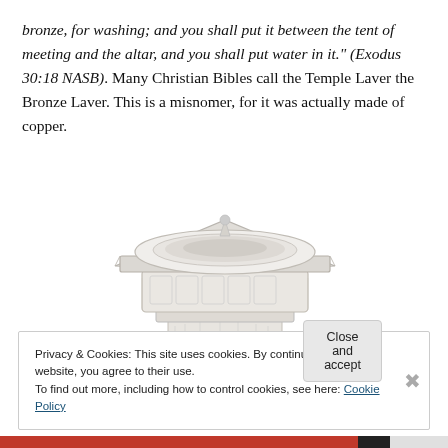bronze, for washing; and you shall put it between the tent of meeting and the altar, and you shall put water in it." (Exodus 30:18 NASB). Many Christian Bibles call the Temple Laver the Bronze Laver. This is a misnomer, for it was actually made of copper.
[Figure (illustration): Pencil drawing of the Temple Laver (Bronze Laver), showing an ornate basin with decorated carved sides, sitting on a pedestal base with scroll-like feet.]
Privacy & Cookies: This site uses cookies. By continuing to use this website, you agree to their use.
To find out more, including how to control cookies, see here: Cookie Policy